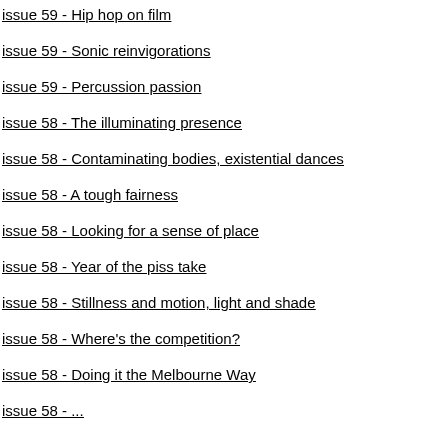issue 59 - Hip hop on film
issue 59 - Sonic reinvigorations
issue 59 - Percussion passion
issue 58 - The illuminating presence
issue 58 - Contaminating bodies, existential dances
issue 58 - A tough fairness
issue 58 - Looking for a sense of place
issue 58 - Year of the piss take
issue 58 - Stillness and motion, light and shade
issue 58 - Where's the competition?
issue 58 - Doing it the Melbourne Way
issue 58 - ...